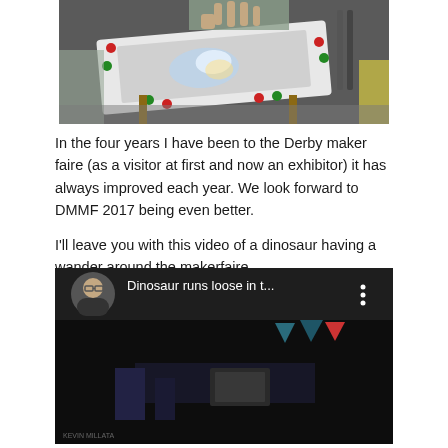[Figure (photo): Person touching an interactive light-up table/board with red and green buttons around the edge, sitting on a wooden chair. The board appears to have colorful LED lights inside.]
In the four years I have been to the Derby maker faire (as a visitor at first and now an exhibitor) it has always improved each year. We look forward to DMMF 2017 being even better.
I'll leave you with this video of a dinosaur having a wander around the makerfaire.
[Figure (screenshot): YouTube video thumbnail showing 'Dinosaur runs loose in t...' with a circular profile photo of a person with glasses on the left, and a three-dot menu icon on the right. The video thumbnail shows a dark scene with what appears to be bunting/flags.]